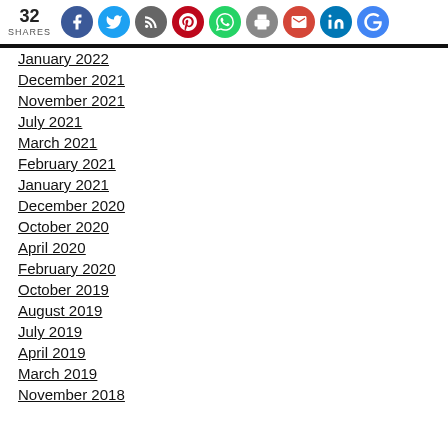32 SHARES [social share icons: Facebook, Twitter, RSS, Pinterest, WhatsApp, Print, Gmail, LinkedIn, Google]
January 2022
December 2021
November 2021
July 2021
March 2021
February 2021
January 2021
December 2020
October 2020
April 2020
February 2020
October 2019
August 2019
July 2019
April 2019
March 2019
November 2018